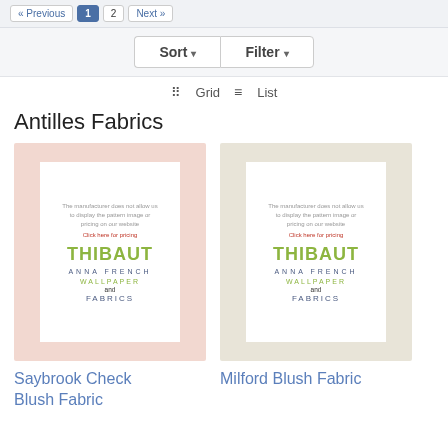« Previous  1  2  Next »
Sort ▾   Filter ▾
⠿ Grid  ≡ List
Antilles Fabrics
[Figure (photo): Product image placeholder for Saybrook Check Blush Fabric showing Thibaut Anna French Wallpaper and Fabrics branding on pink/blush background]
Saybrook Check Blush Fabric
[Figure (photo): Product image placeholder for Milford Blush Fabric showing Thibaut Anna French Wallpaper and Fabrics branding on cream/beige background]
Milford Blush Fabric